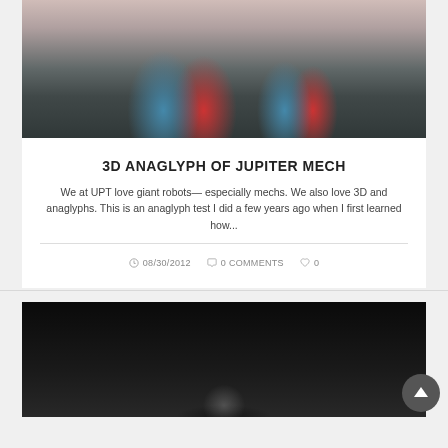[Figure (photo): 3D anaglyph photo of Jupiter Mech robot figurines on a table, showing cyan-red stereoscopic 3D effect]
3D ANAGLYPH OF JUPITER MECH
We at UPT love giant robots— especially mechs. We also love 3D and anaglyphs. This is an anaglyph test I did a few years ago when I first learned how...
08/30/2012   0 COMMENTS   0
[Figure (screenshot): Dark background image, bottom of second article card, partially cropped]